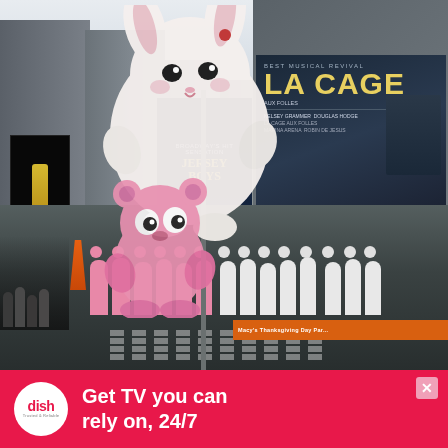[Figure (photo): Macy's Thanksgiving Day Parade in Times Square, New York City. Large cartoon character balloons (white rabbit/bunny figure and pink bear character) float above the street. Crowds of parade workers in white and pink uniforms walk on the street. Billboards visible include Phantom of the Opera, La Cage aux Folles (Best Musical Revival), Jersey Boys, Wicked, and a Corona beer advertisement on the left. A large orange banner reads Macy's Thanksgiving Day Parade at the bottom right.]
[Figure (logo): DISH TV advertisement banner. Red background with white DISH logo circle on left, text reading 'Get TV you can rely on, 24/7' in white bold text. Small X close button in upper right.]